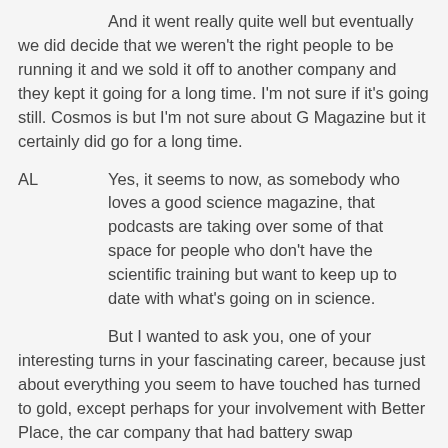And it went really quite well but eventually we did decide that we weren't the right people to be running it and we sold it off to another company and they kept it going for a long time. I'm not sure if it's going still. Cosmos is but I'm not sure about G Magazine but it certainly did go for a long time.
AL   Yes, it seems to now, as somebody who loves a good science magazine, that podcasts are taking over some of that space for people who don't have the scientific training but want to keep up to date with what's going on in science.
But I wanted to ask you, one of your interesting turns in your fascinating career, because just about everything you seem to have touched has turned to gold, except perhaps for your involvement with Better Place, the car company that had battery swap technology at the heart of its model and which also had this idea that electric vehicles would provide electricity back to the grid in off times.